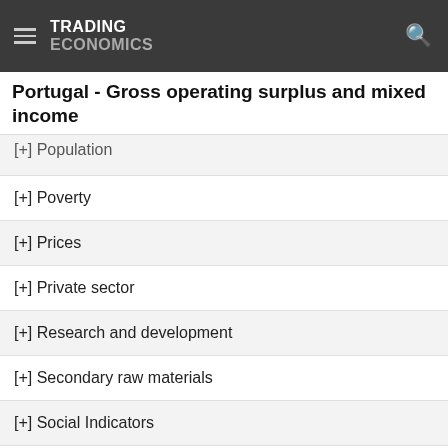TRADING ECONOMICS
Portugal - Gross operating surplus and mixed income
[+] Population
[+] Poverty
[+] Prices
[+] Private sector
[+] Research and development
[+] Secondary raw materials
[+] Social Indicators
[+] Sustainable development indicators
[+] Tourism